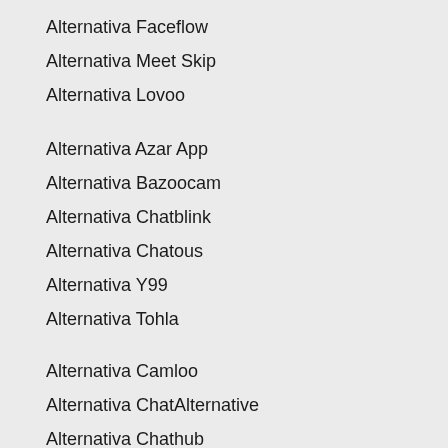Alternativa Faceflow
Alternativa Meet Skip
Alternativa Lovoo
Alternativa Azar App
Alternativa Bazoocam
Alternativa Chatblink
Alternativa Chatous
Alternativa Y99
Alternativa Tohla
Alternativa Camloo
Alternativa ChatAlternative
Alternativa Chathub
Alternativa Chatpig
Alternativa Mnogochat
Alternativa Chat...